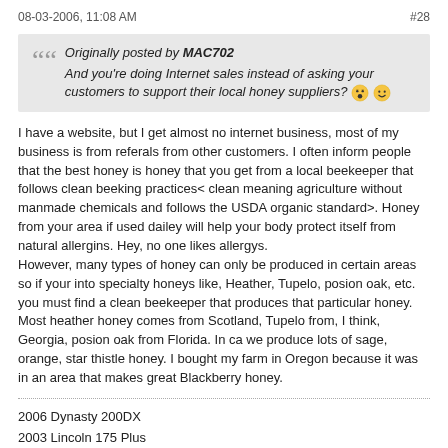08-03-2006, 11:08 AM   #28
Originally posted by MAC702
And you're doing Internet sales instead of asking your customers to support their local honey suppliers? 😮 🙂
I have a website, but I get almost no internet business, most of my business is from referals from other customers. I often inform people that the best honey is honey that you get from a local beekeeper that follows clean beeking practices< clean meaning agriculture without manmade chemicals and follows the USDA organic standard>. Honey from your area if used dailey will help your body protect itself from natural allergins. Hey, no one likes allergys.
However, many types of honey can only be produced in certain areas so if your into specialty honeys like, Heather, Tupelo, posion oak, etc. you must find a clean beekeeper that produces that particular honey. Most heather honey comes from Scotland, Tupelo from, I think, Georgia, posion oak from Florida. In ca we produce lots of sage, orange, star thistle honey. I bought my farm in Oregon because it was in an area that makes great Blackberry honey.
2006 Dynasty 200DX
2003 Lincoln 175 Plus
1940's 400LB buzz box
2004, 1979 Victor 100F, ox/ac